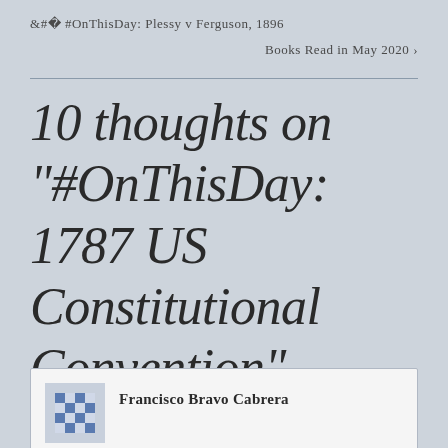< #OnThisDay: Plessy v Ferguson, 1896
Books Read in May 2020 >
10 thoughts on “#OnThisDay: 1787 US Constitutional Convention”
Francisco Bravo Cabrera